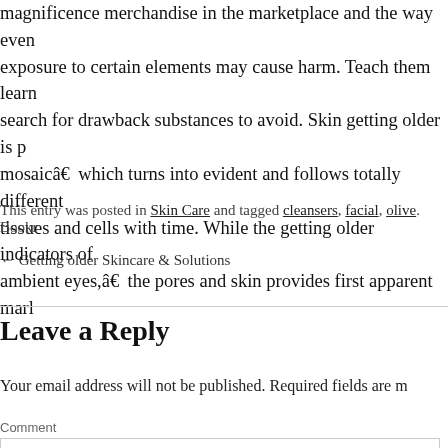magnificence merchandise in the marketplace and the way even exposure to certain elements may cause harm. Teach them learn search for drawback substances to avoid. Skin getting older is p mosaicâ€ which turns into evident and follows totally different tissues and cells with time. While the getting older indicators of ambient eyes,â€ the pores and skin provides first apparent marl
This entry was posted in Skin Care and tagged cleansers, facial, olive. Bookr
← Getting older Skincare & Solutions
Leave a Reply
Your email address will not be published. Required fields are m
Comment